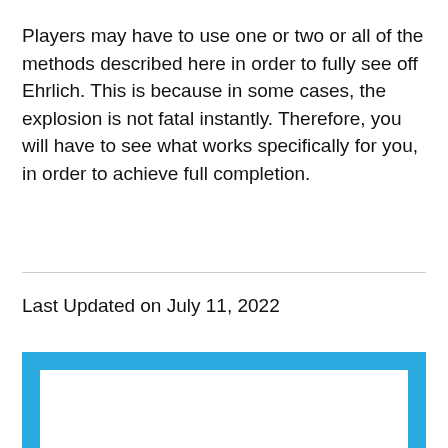Players may have to use one or two or all of the methods described here in order to fully see off Ehrlich. This is because in some cases, the explosion is not fatal instantly. Therefore, you will have to see what works specifically for you, in order to achieve full completion.
Last Updated on July 11, 2022
[Figure (other): Blue bordered rectangle with white interior, partially visible at bottom of page]